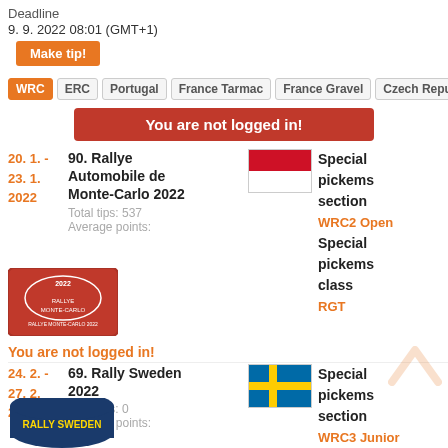Deadline
9. 9. 2022 08:01 (GMT+1)
Make tip!
WRC | ERC | Portugal | France Tarmac | France Gravel | Czech Republic
You are not logged in!
20. 1. - 23. 1. 2022  90. Rallye Automobile de Monte-Carlo 2022  Total tips: 537  Average points:
[Figure (illustration): Rallye Monte-Carlo 2022 logo - red rally car graphic with text RALLYE MONTE-CARLO]
[Figure (illustration): Monaco flag - red top half, white bottom half]
Special pickems section
WRC2 Open
Special pickems class
RGT
You are not logged in!
24. 2. - 27. 2. 2022  69. Rally Sweden 2022  Total tips: 0  Average points:
[Figure (illustration): Rally Sweden logo - blue oval with yellow text RALLY SWEDEN]
[Figure (illustration): Sweden flag - blue with yellow cross]
Special pickems section
WRC3 Junior
Special pickems